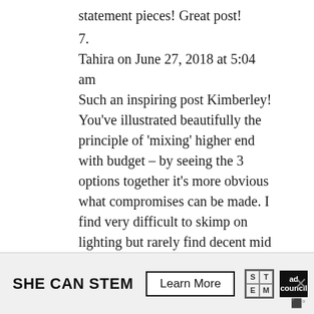statement pieces! Great post!
7.
Tahira on June 27, 2018 at 5:04 am
Such an inspiring post Kimberley! You've illustrated beautifully the principle of 'mixing' higher end with budget – by seeing the 3 options together it's more obvious what compromises can be made. I find very difficult to skimp on lighting but rarely find decent mid range (my budget) – both posts included fab examples of what I'm looking for (thanks!!). I also like your approach to first decide the elements, then source/compare cost (might be obvious, but often we buy first then plan :o) (one
[Figure (other): Advertisement banner: SHE CAN STEM with Learn More button, STEM grid logo, Ad Council logo, and close button X]